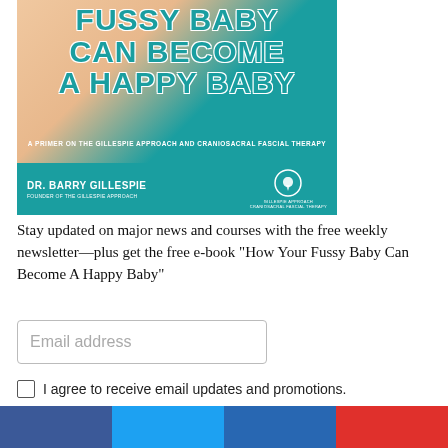[Figure (illustration): Book cover for 'How Your Fussy Baby Can Become A Happy Baby: A Primer on the Gillespie Approach and Craniosacral Fascial Therapy' by Dr. Barry Gillespie, Founder of the Gillespie Approach. Teal/turquoise background with large white and teal text, subtitle text, photo of baby, and Gillespie Approach logo at bottom.]
Stay updated on major news and courses with the free weekly newsletter—plus get the free e-book "How Your Fussy Baby Can Become A Happy Baby"
Email address
I agree to receive email updates and promotions.